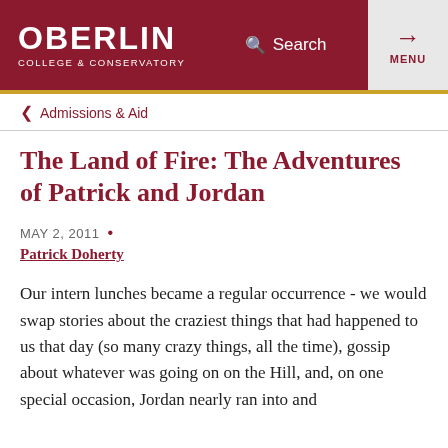OBERLIN COLLEGE & CONSERVATORY — Search — MENU
Admissions & Aid
The Land of Fire: The Adventures of Patrick and Jordan
MAY 2, 2011 • Patrick Doherty
Our intern lunches became a regular occurrence - we would swap stories about the craziest things that had happened to us that day (so many crazy things, all the time), gossip about whatever was going on on the Hill, and, on one special occasion, Jordan nearly ran into and